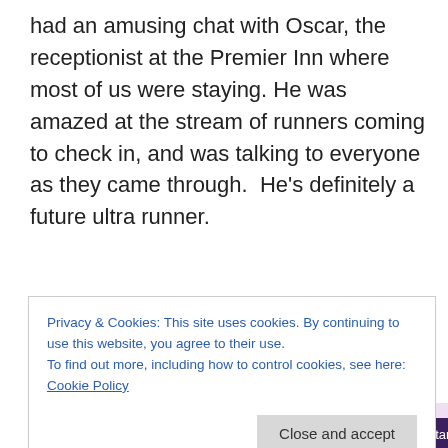had an amusing chat with Oscar, the receptionist at the Premier Inn where most of us were staying. He was amazed at the stream of runners coming to check in, and was talking to everyone as they came through.  He's definitely a future ultra runner.
[Figure (screenshot): WordPress.com advertisement banner with pink/lavender background, WordPress logo on left and 'Start Today' button on right, with 'Advertisements' label above]
Surprisingly, the race registration wasn't a long line of tables, manned by cheerful volunteers checking kit and
Privacy & Cookies: This site uses cookies. By continuing to use this website, you agree to their use.
To find out more, including how to control cookies, see here: Cookie Policy